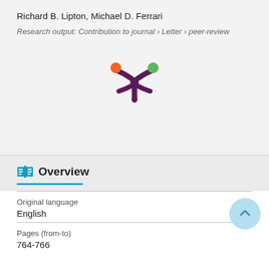Richard B. Lipton, Michael D. Ferrari
Research output: Contribution to journal › Letter › peer-review
[Figure (logo): Altmetric/Pure research output logo: stylized asterisk shape in dark purple with orange and green circles at two tips]
Overview
Original language
English
Pages (from-to)
764-766